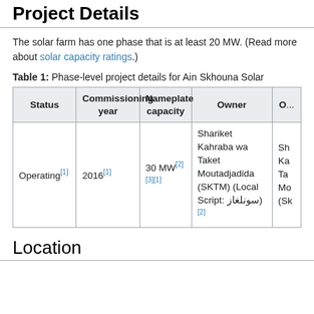Project Details
The solar farm has one phase that is at least 20 MW. (Read more about solar capacity ratings.)
Table 1: Phase-level project details for Ain Skhouna Solar
| Status | Commissioning year | Nameplate capacity | Owner | O... |
| --- | --- | --- | --- | --- |
| Operating[1] | 2016[1] | 30 MW[2][3][1] | Shariket Kahraba wa Taket Moutadjadida (SKTM) (Local Script: سونلغاز)[2] | Sh... Ka... Ta... Mo... (SK... |
Location